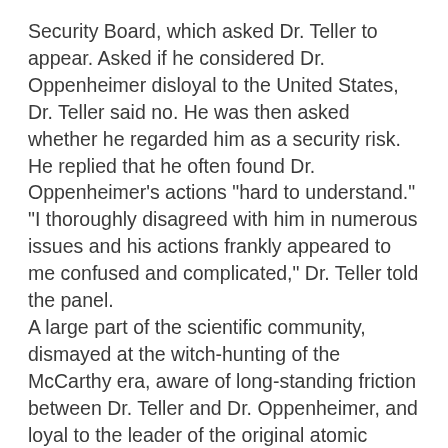Security Board, which asked Dr. Teller to appear. Asked if he considered Dr. Oppenheimer disloyal to the United States, Dr. Teller said no. He was then asked whether he regarded him as a security risk. He replied that he often found Dr. Oppenheimer's actions "hard to understand." "I thoroughly disagreed with him in numerous issues and his actions frankly appeared to me confused and complicated," Dr. Teller told the panel. A large part of the scientific community, dismayed at the witch-hunting of the McCarthy era, aware of long-standing friction between Dr. Teller and Dr. Oppenheimer, and loyal to the leader of the original atomic bomb project, turned its back on Dr. Teller. "By old friends we were practically ostracized," he reported later. His wife "was very badly hurt" and became ill. In contrast to his negative testimony in 1954 Teller in the 1980's was warm in his praise of Oppenheimer. "He knew how to organized, cajole, humor, soothe feelings ...